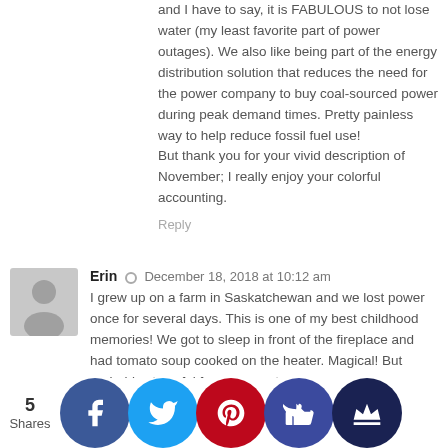and I have to say, it is FABULOUS to not lose water (my least favorite part of power outages). We also like being part of the energy distribution solution that reduces the need for the power company to buy coal-sourced power during peak demand times. Pretty painless way to help reduce fossil fuel use!
But thank you for your vivid description of November; I really enjoy your colorful accounting.
Reply
Erin · December 18, 2018 at 10:12 am
I grew up on a farm in Saskatchewan and we lost power once for several days. This is one of my best childhood memories! We got to sleep in front of the fireplace and had tomato soup cooked on the heater. Magical! But probably stressful for my parents.

I echo Wendy's comment above about force flushing the toilet (I live in a city now and still do that if we have a power out).

A…y: buy…instant…and p…ur c…d. You c…instant…with co…om tem…